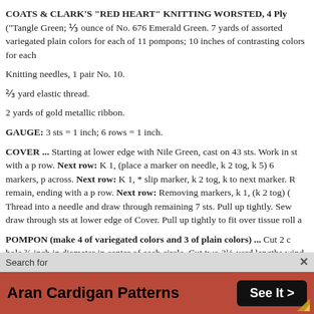COATS & CLARK'S "RED HEART" KNITTING WORSTED, 4 Ply ("Tangle Green; ⅓ ounce of No. 676 Emerald Green. 7 yards of assorted variegated plain colors for each of 11 pompons; 10 inches of contrasting colors for each
Knitting needles, 1 pair No. 10.
⅔ yard elastic thread.
2 yards of gold metallic ribbon.
GAUGE: 3 sts = 1 inch; 6 rows = 1 inch.
COVER ... Starting at lower edge with Nile Green, cast on 43 sts. Work in st with a p row. Next row: K 1, (place a marker on needle, k 2 tog, k 5) 6 markers, p across. Next row: K 1, * slip marker, k 2 tog, k to next marker. R remain, ending with a p row. Next row: Removing markers, k 1, (k 2 tog) ( Thread into a needle and draw through remaining 7 sts. Pull up tightly. Sew draw through sts at lower edge of Cover. Pull up tightly to fit over tissue roll a
POMPON (make 4 of variegated colors and 3 of plain colors) ... Cut 2 c hole ¾ inch in diameter in center of each circle. Cut two 3½-yard lengths wind double strands of yarn around the double circles, drawing yarn throug filled. Cut yarn around outer edge between the 2 circles. Cut a 10 inch le
Search for
Aran Cardigan Patterns
See It >